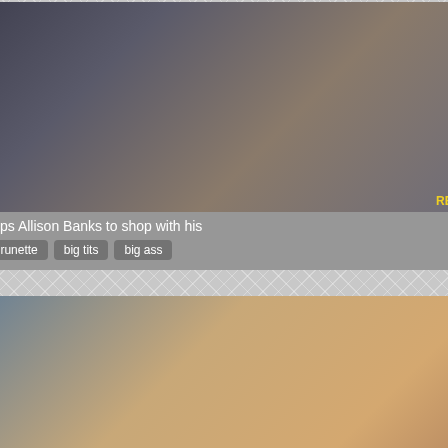[Figure (screenshot): Video thumbnail showing a brunette woman in a store, with duration badge 8:02 and RealityKings watermark]
Jmac helps Allison Banks to shop with his
Tags: brunette  big tits  big ass
[Figure (screenshot): Video thumbnail showing two people on a bed, with duration badge 24:08]
Raquel - Mornig sports